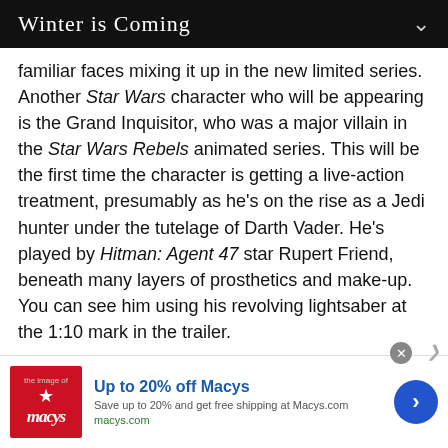Winter is Coming
familiar faces mixing it up in the new limited series. Another Star Wars character who will be appearing is the Grand Inquisitor, who was a major villain in the Star Wars Rebels animated series. This will be the first time the character is getting a live-action treatment, presumably as he’s on the rise as a Jedi hunter under the tutelage of Darth Vader. He’s played by Hitman: Agent 47 star Rupert Friend, beneath many layers of prosthetics and make-up. You can see him using his revolving lightsaber at the 1:10 mark in the trailer.
[Figure (advertisement): Macy's advertisement: Up to 20% off Macys. Save up to 20% and get free shipping at Macys.com. macys.com]